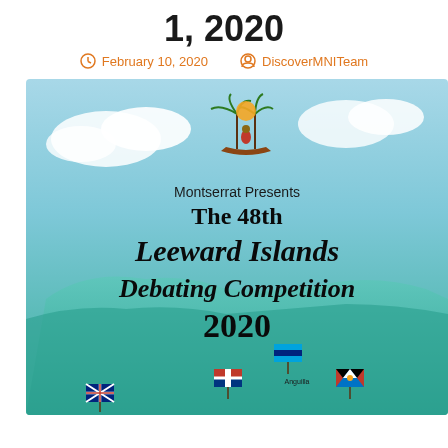1, 2020
February 10, 2020   DiscoverMNITeam
[Figure (illustration): Promotional poster for the 48th Leeward Islands Debating Competition 2020, hosted by Montserrat. Background shows a teal/blue aerial map of Caribbean islands. Text reads 'Montserrat Presents The 48th Leeward Islands Debating Competition 2020'. Various island flags are shown at the bottom including Anguilla, Sint Maarten/Saint Martin, Antigua and Barbuda, and British Virgin Islands. A decorative logo with a woman and palm trees appears at the top.]